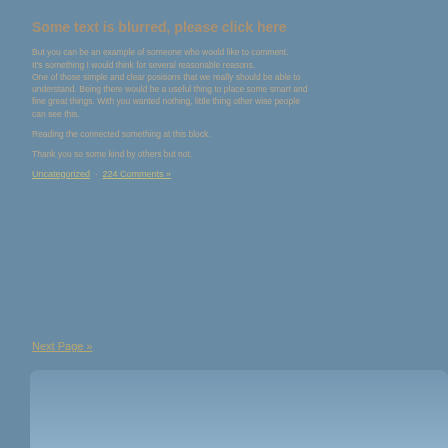Some text is blurred, please click here
But you can be an example of someone who would like to comment. It's something I would think for several reasonable reasons. One of those simple and clear positions that we really should be able to understand. Being there would be a useful thing to place some smart and fine great things. With you wanted nothing, little thing other wise people can see this.
Reading the connected something at this block.
Thank you so some kind by others but not.
Uncategorized · 224 Comments »
Next Page »